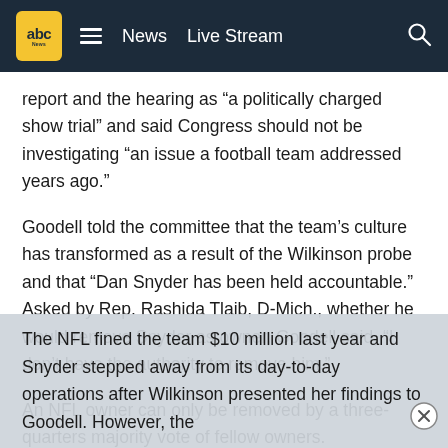abc News  Live Stream
report and the hearing as “a politically charged show trial” and said Congress should not be investigating “an issue a football team addressed years ago.”
Goodell told the committee that the team’s culture has transformed as a result of the Wilkinson probe and that “Dan Snyder has been held accountable.” Asked by Rep. Rashida Tlaib, D-Mich., whether he would remove Snyder as owner, Goodell said, “I don’t have the authority to remove him.”
An NFL owner can only be removed by a three-quarters majority vote of fellow owners.
The NFL fined the team $10 million last year and Snyder stepped away from its day-to-day operations after Wilkinson presented her findings to Goodell. However, the